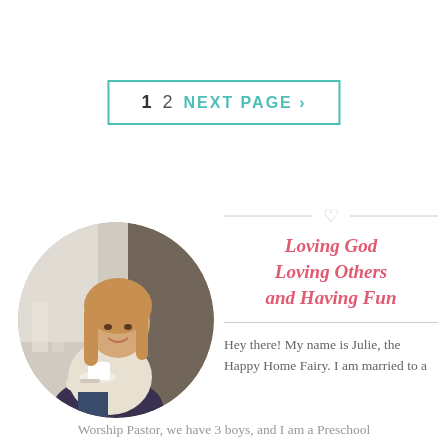1   2   NEXT PAGE >
[Figure (photo): Circular portrait photo of a smiling woman with long blonde hair holding a white cup and saucer, sitting casually, with candles in the blurred background.]
Loving God
Loving Others
and Having Fun
Hey there! My name is Julie, the Happy Home Fairy. I am married to a Worship Pastor, we have 3 boys, and I am a Preschool